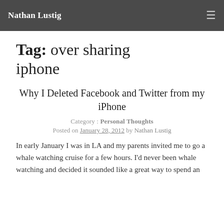Nathan Lustig
Tag: over sharing iphone
Why I Deleted Facebook and Twitter from my iPhone
Category : Personal Thoughts
Posted on January 28, 2012 by Nathan Lustig
In early January I was in LA and my parents invited me to go a whale watching cruise for a few hours. I'd never been whale watching and decided it sounded like a great way to spend an